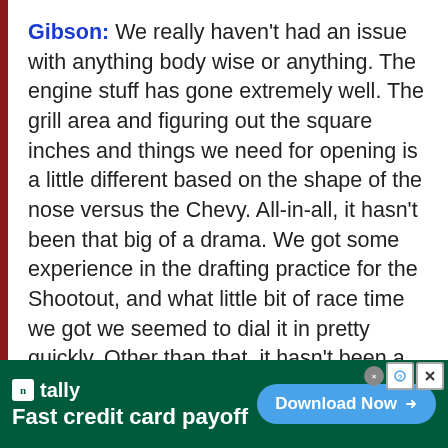Gibson: We really haven't had an issue with anything body wise or anything. The engine stuff has gone extremely well. The grill area and figuring out the square inches and things we need for opening is a little different based on the shape of the nose versus the Chevy. All-in-all, it hasn't been that big of a drama. We got some experience in the drafting practice for the Shootout, and what little bit of race time we got we seemed to dial it in pretty quickly. Other than that, it hasn't been a huge difference. Speedways are what they are. When we start getting on the mile and a
[Figure (other): Advertisement banner for Tally app: 'Fast credit card payoff' with a 'Download Now' button on a dark green background]